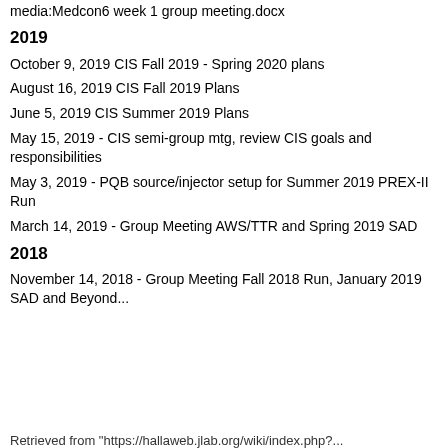media:Medcon6 week 1 group meeting.docx
2019
October 9, 2019 CIS Fall 2019 - Spring 2020 plans
August 16, 2019 CIS Fall 2019 Plans
June 5, 2019 CIS Summer 2019 Plans
May 15, 2019 - CIS semi-group mtg, review CIS goals and responsibilities
May 3, 2019 - PQB source/injector setup for Summer 2019 PREX-II Run
March 14, 2019 - Group Meeting AWS/TTR and Spring 2019 SAD
2018
November 14, 2018 - Group Meeting Fall 2018 Run, January 2019 SAD and Beyond...
Retrieved from "https://hallaweb.jlab.org/..."